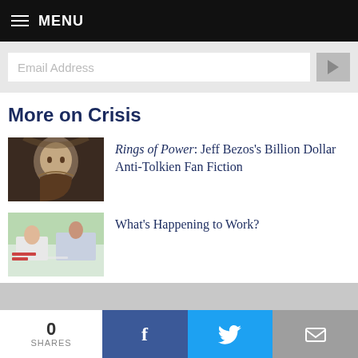MENU
[Figure (screenshot): Email Address input field with gray background and arrow button]
More on Crisis
[Figure (photo): Close-up of a young woman with long hair looking down – Rings of Power article thumbnail]
Rings of Power: Jeff Bezos's Billion Dollar Anti-Tolkien Fan Fiction
[Figure (photo): People working together at a table in an office – What's Happening to Work article thumbnail]
What's Happening to Work?
0 SHARES